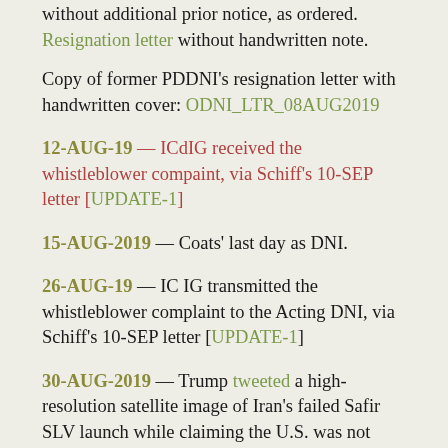without additional prior notice, as ordered. Resignation letter without handwritten note.
Copy of former PDDNI's resignation letter with handwritten cover: ODNI_LTR_08AUG2019
12-AUG-19 — ICdIG received the whistleblower compaint, via Schiff's 10-SEP letter [UPDATE-1]
15-AUG-2019 — Coats' last day as DNI.
26-AUG-19 — IC IG transmitted the whistleblower complaint to the Acting DNI, via Schiff's 10-SEP letter [UPDATE-1]
30-AUG-2019 — Trump tweeted a high-resolution satellite image of Iran's failed Safir SLV launch while claiming the U.S. was not